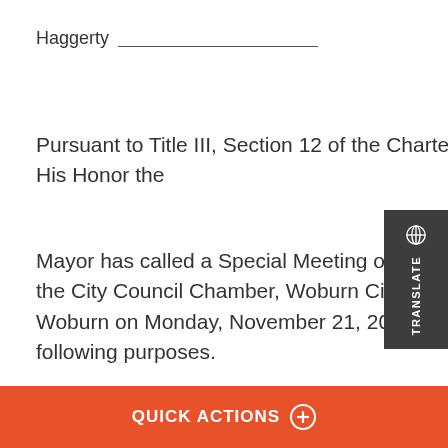Haggerty ____________________
Pursuant to Title III, Section 12 of the Charter of the City of Woburn, His Honor the
Mayor has called a Special Meeting of the City Council to be held in the City Council Chamber, Woburn City Hall, 1 Common Street, Woburn on Monday, November 21, 201__ at 5:45 p.m. for the following purposes.
VOTED to dispense with the reading of the previous meeting's Journal and to APPROVE, 8 in favor, 0 opposed,
QUICK ACTIONS ⊕